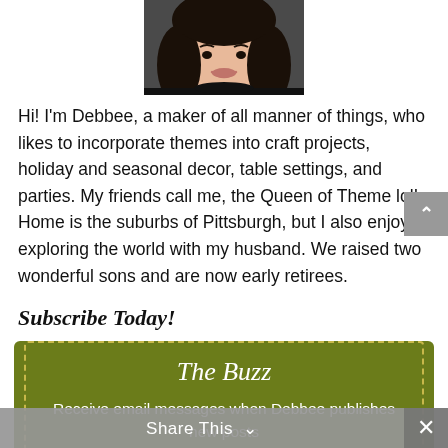[Figure (photo): Headshot of a woman with dark hair smiling, cropped at the top of the page]
Hi! I'm Debbee, a maker of all manner of things, who likes to incorporate themes into craft projects, holiday and seasonal decor, table settings, and parties. My friends call me, the Queen of Theme lol! Home is the suburbs of Pittsburgh, but I also enjoy exploring the world with my husband. We raised two wonderful sons and are now early retirees.
Subscribe Today!
[Figure (infographic): Green subscription box with dashed border containing the title 'The Buzz' and text 'Receive email messages when Debbee publishes new posts']
Share This  ∨